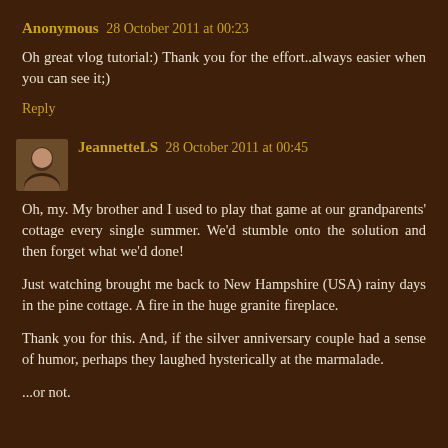Anonymous 28 October 2011 at 00:23
Oh great vlog tutorial:) Thank you for the effort..always easier when you can see it;)
Reply
JeannetteLS 28 October 2011 at 00:45
Oh, my. My brother and I used to play that game at our grandparents' cottage every single summer. We'd stumble onto the solution and then forget what we'd done!
Just watching brought me back to New Hampshire (USA) rainy days in the pine cottage. A fire in the huge granite fireplace.
Thank you for this. And, if the silver anniversary couple had a sense of humor, perhaps they laughed hysterically at the marmalade.
...or not.